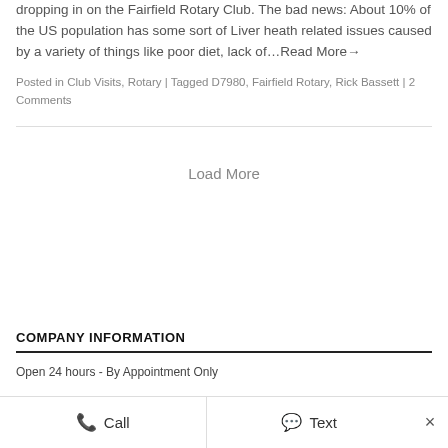dropping in on the Fairfield Rotary Club. The bad news: About 10% of the US population has some sort of Liver heath related issues caused by a variety of things like poor diet, lack of…Read More→
Posted in Club Visits, Rotary | Tagged D7980, Fairfield Rotary, Rick Bassett | 2 Comments
Load More
COMPANY INFORMATION
Open 24 hours - By Appointment Only
Call   Text   ×